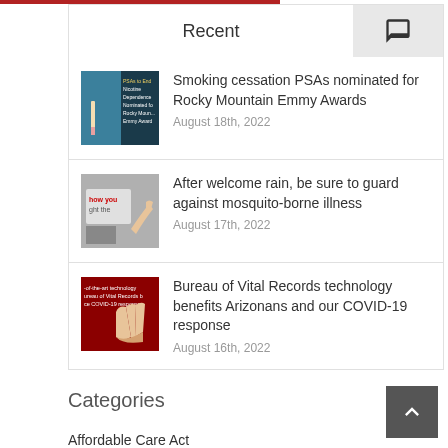Recent
Smoking cessation PSAs nominated for Rocky Mountain Emmy Awards
August 18th, 2022
After welcome rain, be sure to guard against mosquito-borne illness
August 17th, 2022
Bureau of Vital Records technology benefits Arizonans and our COVID-19 response
August 16th, 2022
Categories
Affordable Care Act